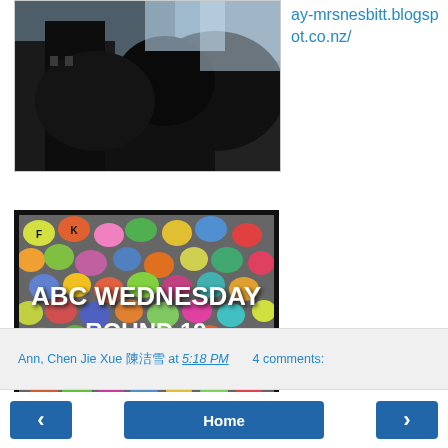[Figure (photo): Dark photo of a building with foliage against a cloudy sky, upper left portion of page]
ay-mrsnesbitt.blogspot.co.nz/
[Figure (photo): Colorful letter beads photo with text overlay reading ABC WEDNESDAY ROUND 19]
Ann, Chen Jie Xue 陳洁雪 at 5:18 PM    4 comments:
[Figure (other): Navigation buttons: left arrow, Home, right arrow]